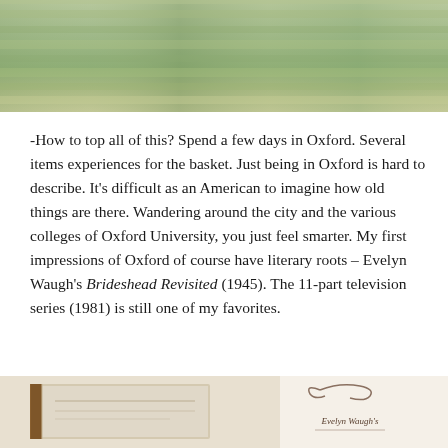[Figure (photo): Aerial or ground-level photo of a grassy field or lawn, green and tan coloring]
-How to top all of this? Spend a few days in Oxford. Several items experiences for the basket. Just being in Oxford is hard to describe. It's difficult as an American to imagine how old things are there. Wandering around the city and the various colleges of Oxford University, you just feel smarter. My first impressions of Oxford of course have literary roots – Evelyn Waugh's Brideshead Revisited (1945). The 11-part television series (1981) is still one of my favorites.
[Figure (photo): Bottom portion showing two images: left shows a book or box with visible spine, right shows decorative text reading 'Evelyn Waugh's' with ornamental swirl design]